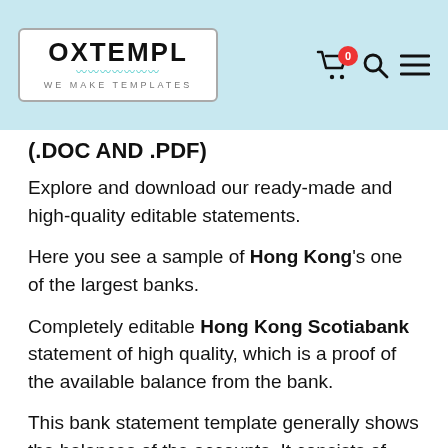OXTEMPL — WE MAKE TEMPLATES
(.DOC AND .PDF)
Explore and download our ready-made and high-quality editable statements.
Here you see a sample of Hong Kong's one of the largest banks.
Completely editable Hong Kong Scotiabank statement of high quality, which is a proof of the available balance from the bank.
This bank statement template generally shows the balances of the accounts. It consists of opening balances, closing balances and current